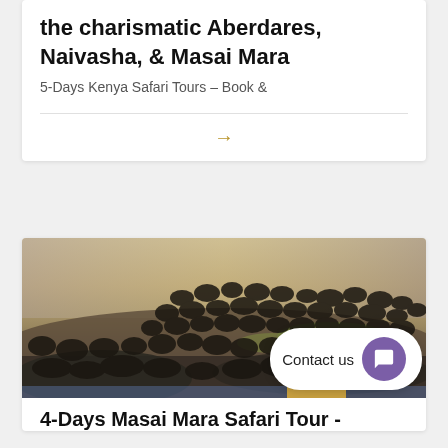the charismatic Aberdares, Naivasha, & Masai Mara
5-Days Kenya Safari Tours – Book &
[Figure (photo): Herd of wildebeest crossing a dusty riverbank during a safari migration, Masai Mara]
$1,0[...] Contact us [...]0
4-Days Masai Mara Safari Tour -